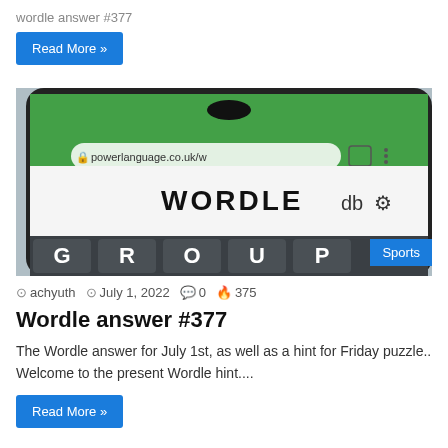wordle answer #377
Read More »
[Figure (photo): A smartphone displaying the Wordle game website at powerlanguage.co.uk/w, showing the WORDLE title and keyboard letters G R O U P on a dark keyboard. A 'Sports' badge appears in the lower right corner of the image.]
Sports
achyuth  July 1, 2022  0  375
Wordle answer #377
The Wordle answer for July 1st, as well as a hint for Friday puzzle.. Welcome to the present Wordle hint....
Read More »